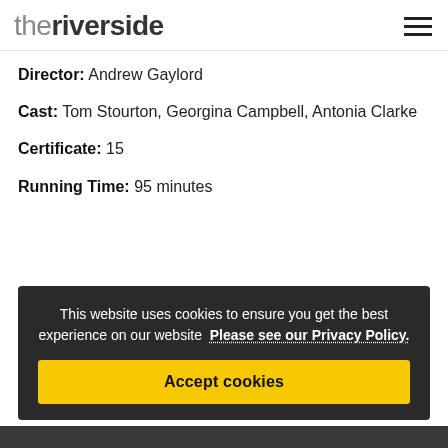theriverside
Director: Andrew Gaylord
Cast: Tom Stourton, Georgina Campbell, Antonia Clarke
Certificate: 15
Running Time: 95 minutes
This website uses cookies to ensure you get the best experience on our website  Please see our Privacy Policy.  Accept cookies